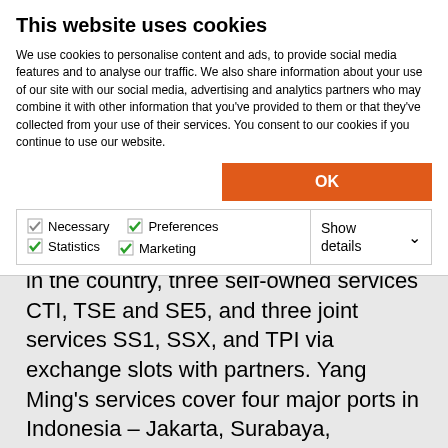This website uses cookies
We use cookies to personalise content and ads, to provide social media features and to analyse our traffic. We also share information about your use of our site with our social media, advertising and analytics partners who may combine it with other information that you've provided to them or that they've collected from your use of their services. You consent to our cookies if you continue to use our website.
OK
Necessary  Preferences  Statistics  Marketing  Show details
in the country, three self-owned services CTI, TSE and SE5, and three joint services SS1, SSX, and TPI via exchange slots with partners. Yang Ming's services cover four major ports in Indonesia – Jakarta, Surabaya, Semarang and Belawan.
The announcement on the new subsidiary